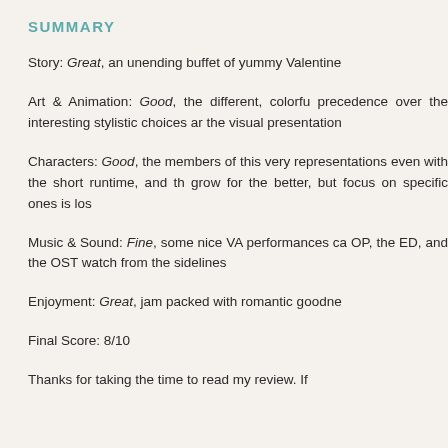SUMMARY
Story: Great, an unending buffet of yummy Valentine
Art & Animation: Good, the different, colorfu precedence over the interesting stylistic choices ar the visual presentation
Characters: Good, the members of this very representations even with the short runtime, and th grow for the better, but focus on specific ones is los
Music & Sound: Fine, some nice VA performances ca OP, the ED, and the OST watch from the sidelines
Enjoyment: Great, jam packed with romantic goodne
Final Score: 8/10
Thanks for taking the time to read my review. If